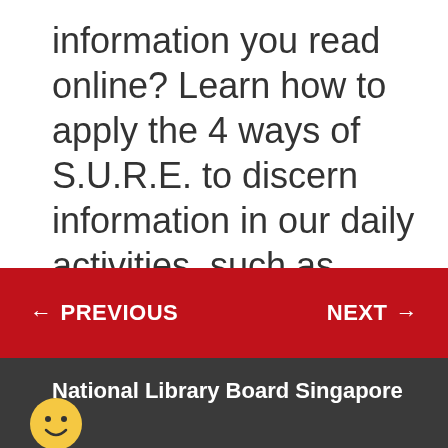information you read online? Learn how to apply the 4 ways of S.U.R.E. to discern information in our daily activities, such as shopping and eating.
← PREVIOUS    NEXT →
National Library Board Singapore